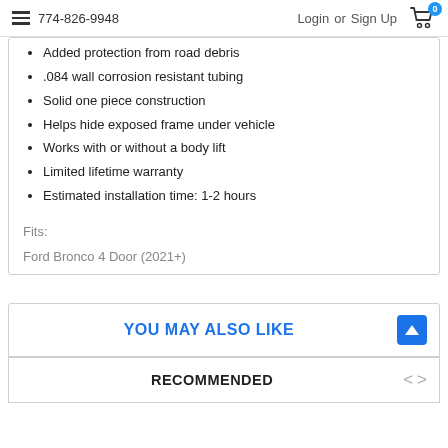774-826-9948  Login or Sign Up  [cart: 0]
Added protection from road debris
.084 wall corrosion resistant tubing
Solid one piece construction
Helps hide exposed frame under vehicle
Works with or without a body lift
Limited lifetime warranty
Estimated installation time: 1-2 hours
Fits:
Ford Bronco 4 Door (2021+)
YOU MAY ALSO LIKE
RECOMMENDED